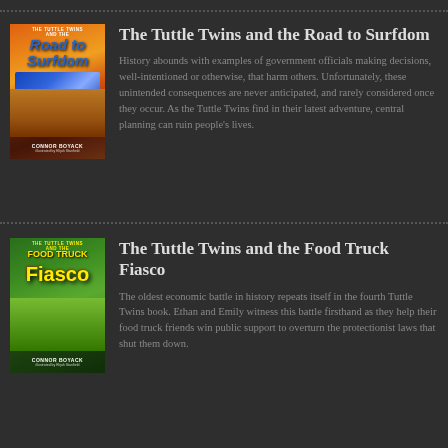[Figure (illustration): Book cover of 'The Tuttle Twins and the Road to Surfdom' by Connor Boyack, illustrated by Elijah Stanfield. Orange-red gradient background with title text and road/surf imagery.]
The Tuttle Twins and the Road to Surfdom
History abounds with examples of government officials making decisions, well-intentioned or otherwise, that harm others. Unfortunately, these unintended consequences are never anticipated, and rarely considered once they occur. As the Tuttle Twins find in their latest adventure, central planning can ruin people's lives.
[Figure (illustration): Book cover of 'The Tuttle Twins and the Food Truck Fiasco' by Connor Boyack, illustrated by Elijah Stanfield. Green background with yellow title text and food truck scene.]
The Tuttle Twins and the Food Truck Fiasco
The oldest economic battle in history repeats itself in the fourth Tuttle Twins book. Ethan and Emily witness this battle firsthand as they help their food truck friends win public support to overturn the protectionist laws that shut them down.